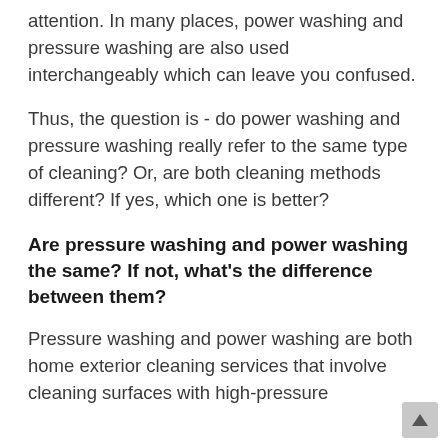attention. In many places, power washing and pressure washing are also used interchangeably which can leave you confused.
Thus, the question is - do power washing and pressure washing really refer to the same type of cleaning? Or, are both cleaning methods different? If yes, which one is better?
Are pressure washing and power washing the same? If not, what's the difference between them?
Pressure washing and power washing are both home exterior cleaning services that involve cleaning surfaces with high-pressure